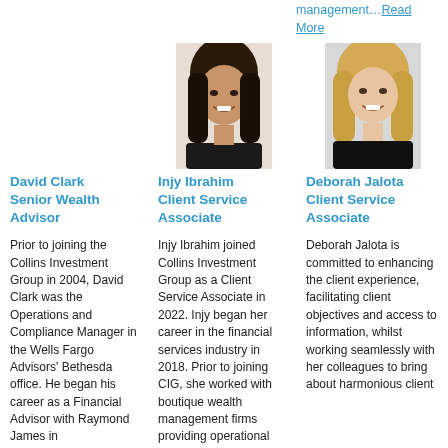management…Read More
[Figure (photo): Headshot of Injy Ibrahim, young woman with dark hair, smiling]
[Figure (photo): Headshot of Deborah Jalota, blonde woman smiling]
David Clark Senior Wealth Advisor
Injy Ibrahim Client Service Associate
Deborah Jalota Client Service Associate
Prior to joining the Collins Investment Group in 2004, David Clark was the Operations and Compliance Manager in the Wells Fargo Advisors' Bethesda office. He began his career as a Financial Advisor with Raymond James in
Injy Ibrahim joined Collins Investment Group as a Client Service Associate in 2022. Injy began her career in the financial services industry in 2018. Prior to joining CIG, she worked with boutique wealth management firms providing operational
Deborah Jalota is committed to enhancing the client experience, facilitating client objectives and access to information, whilst working seamlessly with her colleagues to bring about harmonious client